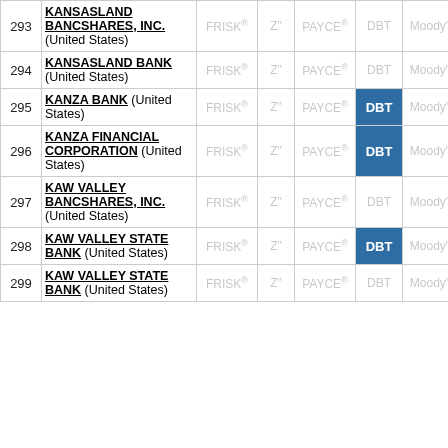| # | Name | FRISK® | Z" | PAYCE® | DBT | Moody's | Fitch |
| --- | --- | --- | --- | --- | --- | --- | --- |
| 293 | KANSASLAND BANCSHARES, INC. (United States) | FRISK® | Z" | PAYCE® | DBT | Moody's | Fitch |
| 294 | KANSASLAND BANK (United States) | FRISK® | Z" | PAYCE® | DBT | Moody's | Fitch |
| 295 | KANZA BANK (United States) | FRISK® | Z" | PAYCE® | DBT | Moody's | Fitch |
| 296 | KANZA FINANCIAL CORPORATION (United States) | FRISK® | Z" | PAYCE® | DBT | Moody's | Fitch |
| 297 | KAW VALLEY BANCSHARES, INC. (United States) | FRISK® | Z" | PAYCE® | DBT | Moody's | Fitch |
| 298 | KAW VALLEY STATE BANK (United States) | FRISK® | Z" | PAYCE® | DBT | Moody's | Fitch |
| 299 | KAW VALLEY STATE BANK (United States) | FRISK® | Z" | PAYCE® | DBT | Moody's | Fitch |